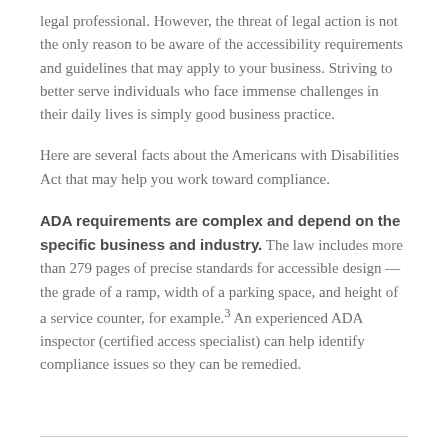legal professional. However, the threat of legal action is not the only reason to be aware of the accessibility requirements and guidelines that may apply to your business. Striving to better serve individuals who face immense challenges in their daily lives is simply good business practice.
Here are several facts about the Americans with Disabilities Act that may help you work toward compliance.
ADA requirements are complex and depend on the specific business and industry. The law includes more than 279 pages of precise standards for accessible design — the grade of a ramp, width of a parking space, and height of a service counter, for example.³ An experienced ADA inspector (certified access specialist) can help identify compliance issues so they can be remedied.